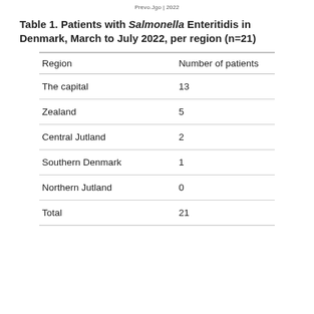Prevo.Jgo | 2022
Table 1. Patients with Salmonella Enteritidis in Denmark, March to July 2022, per region (n=21)
| Region | Number of patients |
| --- | --- |
| The capital | 13 |
| Zealand | 5 |
| Central Jutland | 2 |
| Southern Denmark | 1 |
| Northern Jutland | 0 |
| Total | 21 |